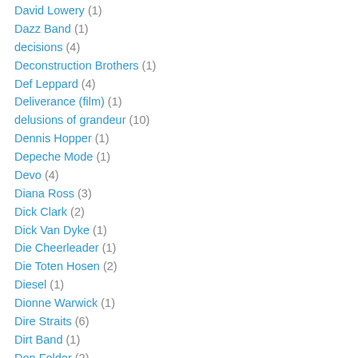David Lowery (1)
Dazz Band (1)
decisions (4)
Deconstruction Brothers (1)
Def Leppard (4)
Deliverance (film) (1)
delusions of grandeur (10)
Dennis Hopper (1)
Depeche Mode (1)
Devo (4)
Diana Ross (3)
Dick Clark (2)
Dick Van Dyke (1)
Die Cheerleader (1)
Die Toten Hosen (2)
Diesel (1)
Dionne Warwick (1)
Dire Straits (6)
Dirt Band (1)
Don Felder (2)